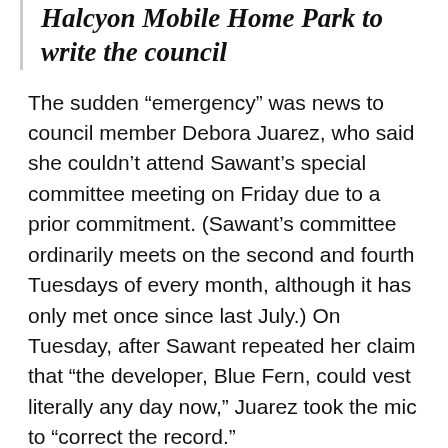Halcyon Mobile Home Park to write the council
The sudden “emergency” was news to council member Debora Juarez, who said she couldn’t attend Sawant’s special committee meeting on Friday due to a prior commitment. (Sawant’s committee ordinarily meets on the second and fourth Tuesdays of every month, although it has only met once since last July.) On Tuesday, after Sawant repeated her claim that “the developer, Blue Fern, could vest literally any day now,” Juarez took the mic to “correct the record.”
Among those corrections: Blue Fern has not filed plans to develop the property. The property is not